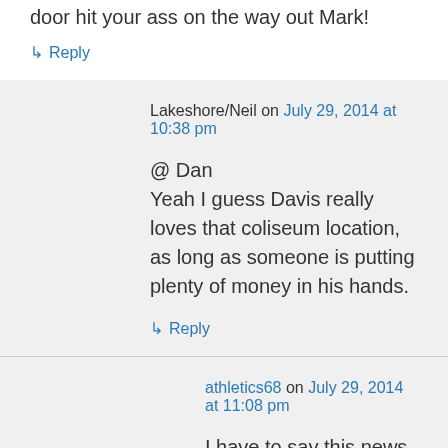door hit your ass on the way out Mark!
↳ Reply
Lakeshore/Neil on July 29, 2014 at 10:38 pm
@ Dan
Yeah I guess Davis really loves that coliseum location, as long as someone is putting plenty of money in his hands.
↳ Reply
athletics68 on July 29, 2014 at 11:08 pm
I have to say this news really picked